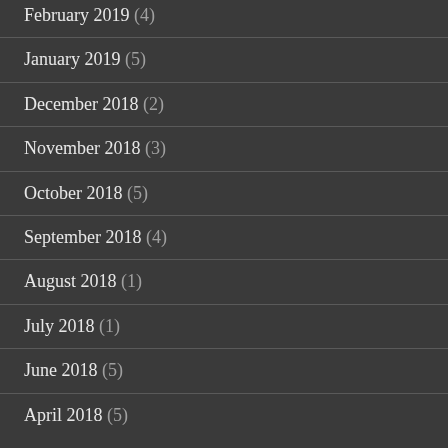February 2019 (4)
January 2019 (5)
December 2018 (2)
November 2018 (3)
October 2018 (5)
September 2018 (4)
August 2018 (1)
July 2018 (1)
June 2018 (5)
April 2018 (5)